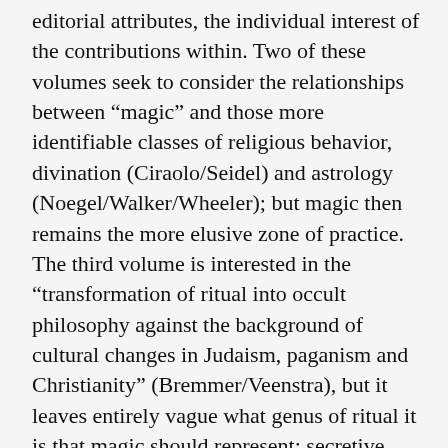editorial attributes, the individual interest of the contributions within. Two of these volumes seek to consider the relationships between “magic” and those more identifiable classes of religious behavior, divination (Ciraolo/Seidel) and astrology (Noegel/Walker/Wheeler); but magic then remains the more elusive zone of practice. The third volume is interested in the “transformation of ritual into occult philosophy against the background of cultural changes in Judaism, paganism and Christianity” (Bremmer/Veenstra), but it leaves entirely vague what genus of ritual it is that magic should represent: secretive, diabolical stuff; experimental attempts at reifying power; or whatever was deemed illegitimate or peripheral at some point in time? It is also a notable